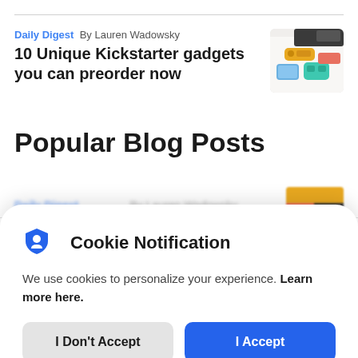Daily Digest  By Lauren Wadowsky
10 Unique Kickstarter gadgets you can preorder now
[Figure (photo): Photo of gadgets including a small yellow speaker, game controllers (blue, teal), and other electronics on a white surface]
Popular Blog Posts
Daily Digest  By Lauren Wadowsky (blurred/partially visible row)
Cookie Notification
We use cookies to personalize your experience. Learn more here.
I Don't Accept
I Accept